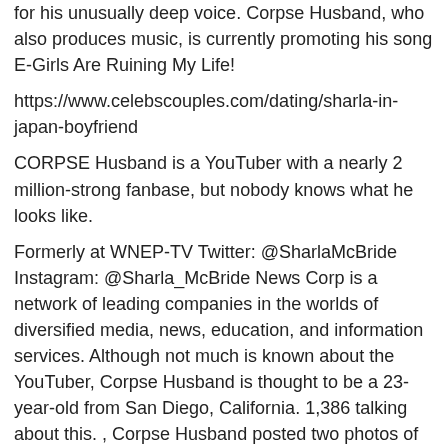for his unusually deep voice. Corpse Husband, who also produces music, is currently promoting his song E-Girls Are Ruining My Life!
https://www.celebscouples.com/dating/sharla-in-japan-boyfriend
CORPSE Husband is a YouTuber with a nearly 2 million-strong fanbase, but nobody knows what he looks like.
Formerly at WNEP-TV Twitter: @SharlaMcBride Instagram: @Sharla_McBride News Corp is a network of leading companies in the worlds of diversified media, news, education, and information services. Although not much is known about the YouTuber, Corpse Husband is thought to be a 23-year-old from San Diego, California. 1,386 talking about this. , Corpse Husband posted two photos of his hands to promote his new song Credit: Twitter Has his face been revealed? Charla's face and hands were ripped off by teenage chimp, Travis in an attack which many still struggle to comprehend.
On October 8, Corpse Husband posted two photos of his hands to